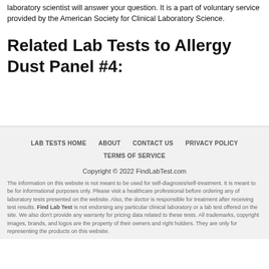laboratory scientist will answer your question. It is a part of voluntary service provided by the American Society for Clinical Laboratory Science.
Related Lab Tests to Allergy Dust Panel #4:
LAB TESTS HOME   ABOUT   CONTACT US   PRIVACY POLICY   TERMS OF SERVICE
Copyright © 2022 FindLabTest.com
The information on this website is not meant to be used for self-diagnosis/self-treatment. It is meant to be for informational purposes only. Please visit a healthcare professional before ordering any of laboratory tests presented on the website. Also, the doctor is responsible for treatment after receiving test results. Find Lab Test is not endorsing any particular clinical laboratory or a lab test offered on the site. We also don't provide any warranty for pricing data related to these tests. All trademarks, copyright images, brands, and logos are the property of their owners and right holders. They are only for representing the products on this website.